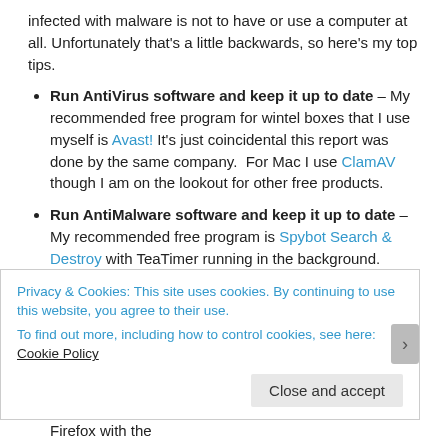infected with malware is not to have or use a computer at all. Unfortunately that's a little backwards, so here's my top tips.
Run AntiVirus software and keep it up to date – My recommended free program for wintel boxes that I use myself is Avast! It's just coincidental this report was done by the same company. For Mac I use ClamAV though I am on the lookout for other free products.
Run AntiMalware software and keep it up to date – My recommended free program is Spybot Search & Destroy with TeaTimer running in the background.
Keep your computer fully patched AT ALL TIMES – PC users have this made a little simpler by installing and running Secunia PSI which sits in the background and alerts you when a program goes out of date. I am yet to find something similar for Mac.
Run adblocking software – I use AdBlock Plus in Firefox with the
Privacy & Cookies: This site uses cookies. By continuing to use this website, you agree to their use. To find out more, including how to control cookies, see here: Cookie Policy